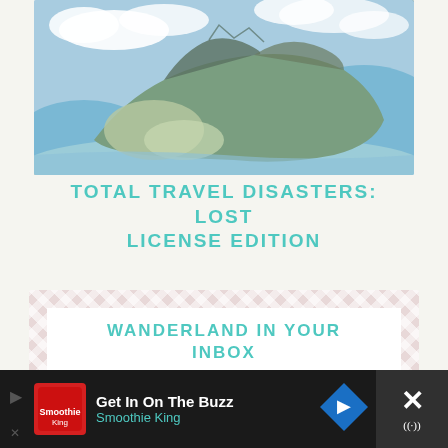[Figure (photo): Aerial photograph of a Hawaiian island coastline with mountains, urban areas, and ocean surrounding the landmass, taken from above the clouds.]
TOTAL TRAVEL DISASTERS: LOST LICENSE EDITION
[Figure (infographic): Newsletter subscription box with a decorative pink/rose checkered border pattern, white inner panel, teal heading 'WANDERLAND IN YOUR INBOX', and body text about subscribing to receive regular new blog posts and monthly Alex in Wanderland content.]
Subscribe to receive regular new blog posts, our monthly Alex in Wanderland
[Figure (infographic): Dark advertisement bar at the bottom showing Smoothie King ad with 'Get In On The Buzz' headline, red logo, teal brand name, blue diamond-shaped arrow button, and an X close button with WiFi/signal icon.]